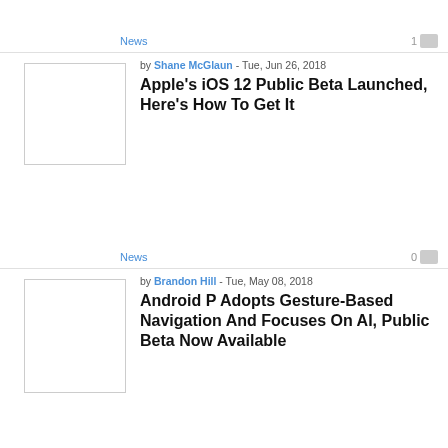News
1
by Shane McGlaun - Tue, Jun 26, 2018
Apple's iOS 12 Public Beta Launched, Here's How To Get It
[Figure (photo): Thumbnail image placeholder for article 1]
News
0
by Brandon Hill - Tue, May 08, 2018
Android P Adopts Gesture-Based Navigation And Focuses On AI, Public Beta Now Available
[Figure (photo): Thumbnail image placeholder for article 2]